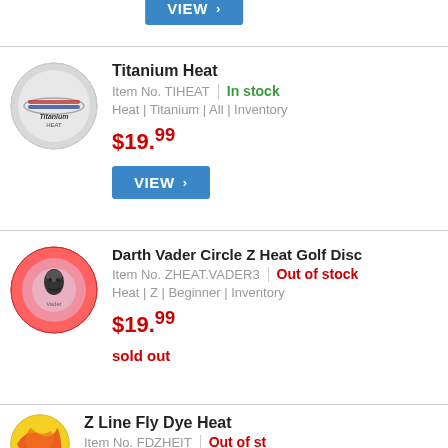[Figure (other): Blue VIEW button with right arrow, partially visible at top]
[Figure (photo): Titanium Heat disc golf disc - white/grey disc with Titanium branding]
Titanium Heat
Item No. TIHEAT | In stock
Heat | Titanium | All | Inventory
$19.99
[Figure (other): Blue VIEW button with right arrow]
[Figure (photo): Darth Vader Circle Z Heat Golf Disc - pink/red disc with Darth Vader image]
Darth Vader Circle Z Heat Golf Disc
Item No. ZHEAT.VADER3 | Out of stock
Heat | Z | Beginner | Inventory
$19.99
sold out
[Figure (photo): Z Line Fly Dye Heat disc - yellow/orange/red tie-dye disc, partially visible]
Z Line Fly Dye Heat
Item No. FDZHEIT | Out of stock